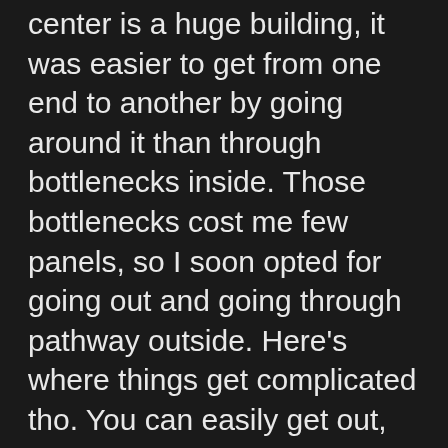center is a huge building, it was easier to get from one end to another by going around it than through bottlenecks inside. Those bottlenecks cost me few panels, so I soon opted for going out and going through pathway outside. Here's where things get complicated tho. You can easily get out, but what they security guards don't tell you upon letting you out is that you can't go back the same way. So you get out to grab a burrito, a drink or simply a breath of fresh air, but when you want to go back – nope, you have to go aaaaall the way back to security check. I don't know if that is a common thing in US, here we have a tight security check upon entering, you get a badge and wristband you can't take off and then you can go in and out whenever you want. You may occasionally get an extra check if you re-enter with a backpack but if you pass them few times, they already know who you are and let you in without an issue. Especially with media badges it